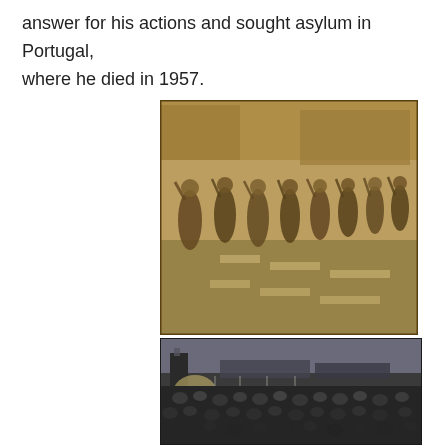answer for his actions and sought asylum in Portugal, where he died in 1957.
[Figure (photo): Sepia-toned historical photograph showing a group of women walking in a line with their hands raised, on a street with buildings in the background. The image appears to be from World War II era.]
[Figure (photo): Black and white historical photograph showing a large crowd of people gathered outdoors, with a watchtower or building structure visible in the background. The image appears to be from a World War II concentration camp setting.]